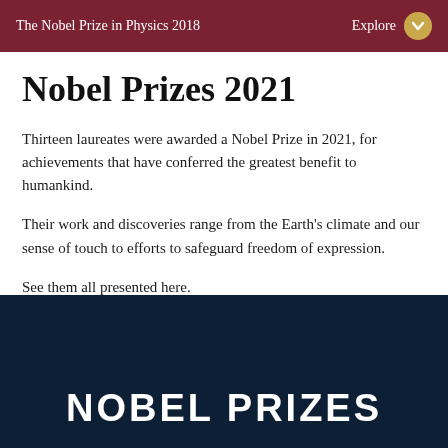The Nobel Prize in Physics 2018 | Explore
Nobel Prizes 2021
Thirteen laureates were awarded a Nobel Prize in 2021, for achievements that have conferred the greatest benefit to humankind.
Their work and discoveries range from the Earth's climate and our sense of touch to efforts to safeguard freedom of expression.
See them all presented here.
[Figure (other): Dark navy blue banner with large white bold uppercase text reading NOBEL PRIZES]